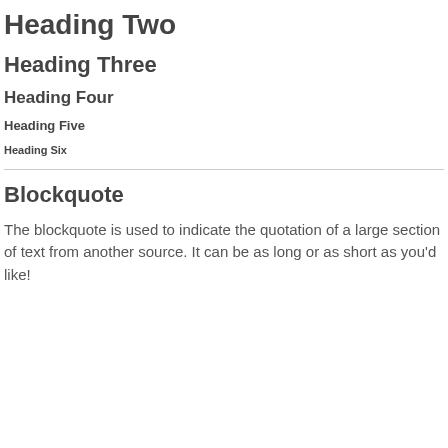Heading Two
Heading Three
Heading Four
Heading Five
Heading Six
Blockquote
The blockquote is used to indicate the quotation of a large section of text from another source. It can be as long or as short as you’d like!